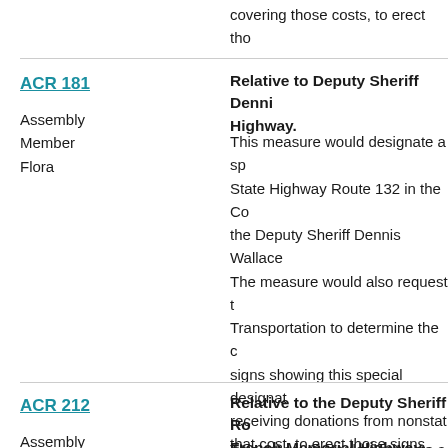covering those costs, to erect tho
ACR 181
Assembly Member Flora
Relative to Deputy Sheriff Dennis Highway.
This measure would designate a sp State Highway Route 132 in the Co the Deputy Sheriff Dennis Wallace The measure would also request t Transportation to determine the signs showing this special designat receiving donations from nonstat that cost, to erect those signs.
ACR 212
Assembly Member Kiley
Relative to the Deputy Sheriff Ro French Memorial Highway.
This measure would designate a s